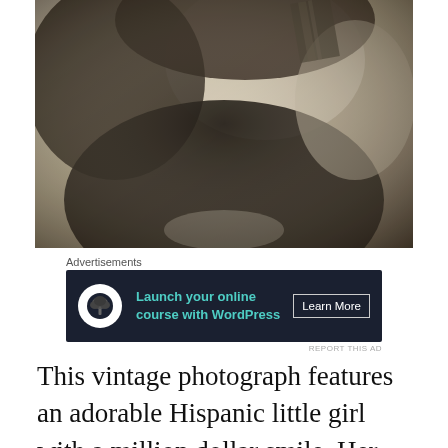[Figure (photo): Vintage sepia photograph of a young Hispanic girl, showing torso and partial face, with dark clothing. The image has a faded, aged appearance.]
Advertisements
[Figure (other): Advertisement banner with dark navy background. Shows a bonsai tree icon in a white circle, teal text reading 'Launch your online course with WordPress', and a 'Learn More' button.]
REPORT THIS AD
This vintage photograph features an adorable Hispanic little girl with a million dollar smile. Her eyes dance with happiness. She is